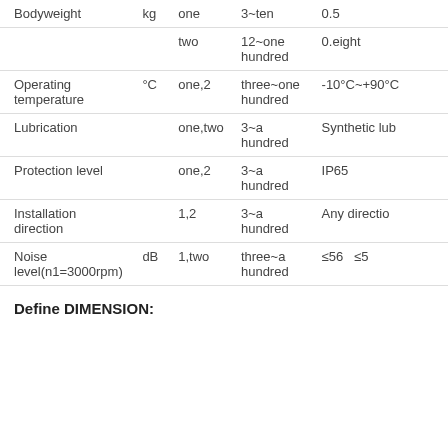| Bodyweight | kg | one | 3~ten | 0.5 |
|  |  | two | 12~one hundred | 0.eight |
| Operating temperature | °C | one,2 | three~one hundred | -10°C~+90°C |
| Lubrication |  | one,two | 3~a hundred | Synthetic lub |
| Protection level |  | one,2 | 3~a hundred | IP65 |
| Installation direction |  | 1,2 | 3~a hundred | Any directio |
| Noise level(n1=3000rpm) | dB | 1,two | three~a hundred | ≤56  ≤5 |
Define DIMENSION: